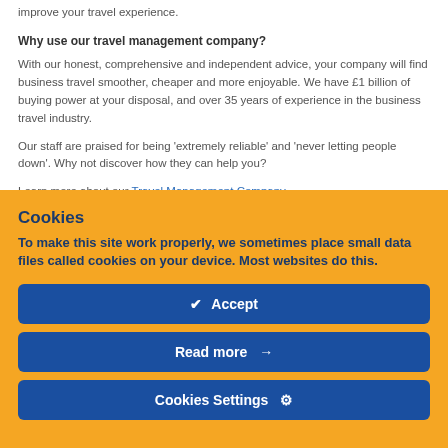improve your travel experience.
Why use our travel management company?
With our honest, comprehensive and independent advice, your company will find business travel smoother, cheaper and more enjoyable. We have £1 billion of buying power at your disposal, and over 35 years of experience in the business travel industry.
Our staff are praised for being 'extremely reliable' and 'never letting people down'. Why not discover how they can help you?
Learn more about our Travel Management Company.
Please click here to read our previous article
Cookies
To make this site work properly, we sometimes place small data files called cookies on your device. Most websites do this.
✔ Accept
Read more →
Cookies Settings ⚙